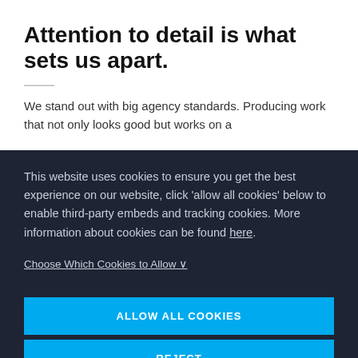Attention to detail is what sets us apart.
We stand out with big agency standards. Producing work that not only looks good but works on a
This website uses cookies to ensure you get the best experience on our website, click 'allow all cookies' below to enable third-party embeds and tracking cookies. More information about cookies can be found here.
Choose Which Cookies to Allow ∨
ALLOW ALL COOKIES
REJECT